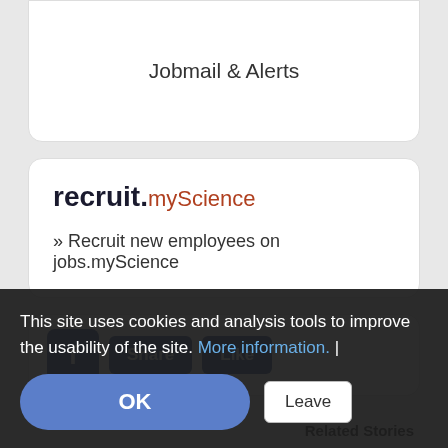Jobmail & Alerts
recruit.myScience
» Recruit new employees on jobs.myScience
[Figure (screenshot): Facebook Share and Like buttons with Facebook icon]
Related Stories
Materials Science
New ... Metal at ME... Battery Research Center - 1606
This site uses cookies and analysis tools to improve the usability of the site. More information. |
OK
Leave